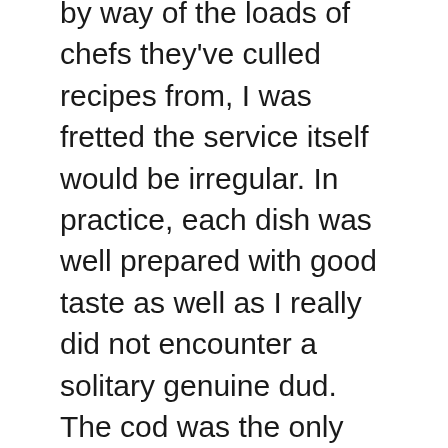by way of the loads of chefs they've culled recipes from, I was fretted the service itself would be irregular. In practice, each dish was well prepared with good taste as well as I really did not encounter a solitary genuine dud. The cod was the only dish I would certainly wished had actually been a bigger part yet general each lunch or supper was satisfying.
The most interesting feature of CookUnity is the large quantity of meal alternatives you can pick from, all originating from cooks of various histories, culinary designs and degrees of popularity. As an authentic restaurant junkie, I would certainly consider CookUnity not only as a delicious way to maintain myself fed without needing to cook,